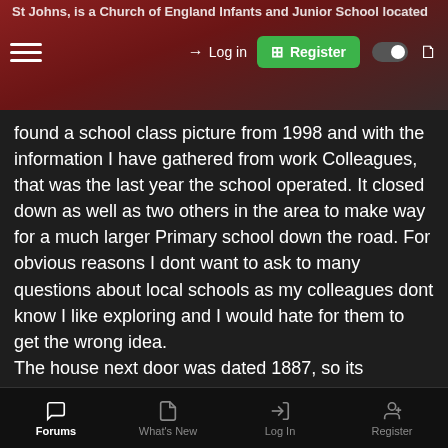St Johns, is a Church of England Infants and Junior School located
found a school class picture from 1998 and with the information I have gathered from work Colleagues, that was the last year the school operated. It closed down as well as two others in the area to make way for a much larger Primary school down the road. For obvious reasons I dont want to ask to many questions about local schools as my colleagues dont know I like exploring and I would hate for them to get the wrong idea.
The house next door was dated 1887, so its probably safe to assume it was built around the same time.
[Figure (photo): Outdoor photograph showing dark silhouetted trees against a pale blue-grey overcast sky with a street lamp visible in the distance]
Forums  What's New  Log In  Register